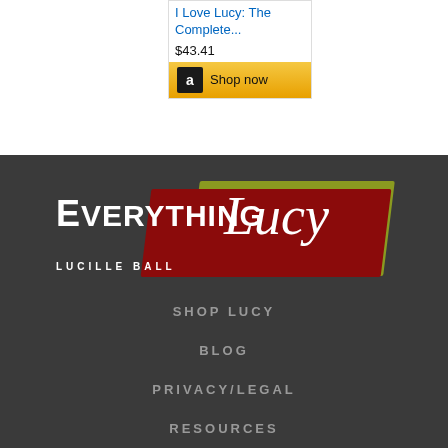I Love Lucy: The Complete...
$43.41
[Figure (screenshot): Amazon Shop now button with Amazon logo on golden background]
[Figure (logo): Everything Lucy - Lucille Ball website logo with red and green banner design]
SHOP LUCY
BLOG
PRIVACY/LEGAL
RESOURCES